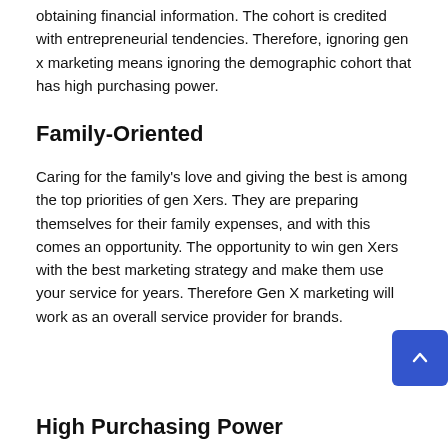obtaining financial information. The cohort is credited with entrepreneurial tendencies. Therefore, ignoring gen x marketing means ignoring the demographic cohort that has high purchasing power.
Family-Oriented
Caring for the family's love and giving the best is among the top priorities of gen Xers. They are preparing themselves for their family expenses, and with this comes an opportunity. The opportunity to win gen Xers with the best marketing strategy and make them use your service for years. Therefore Gen X marketing will work as an overall service provider for brands.
High Purchasing Power